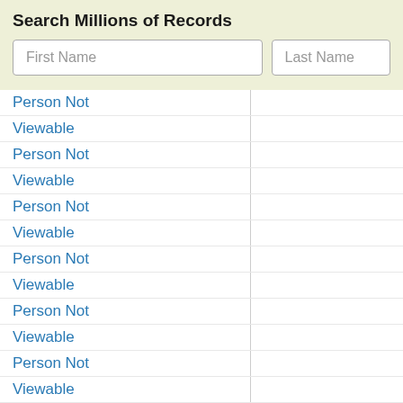Search Millions of Records
First Name
Last Name
Person Not
Viewable
Person Not
Viewable
Person Not
Viewable
Person Not
Viewable
Person Not
Viewable
Person Not
Viewable
Person Not
Viewable
Person Not
Viewable
Person Not
Viewable